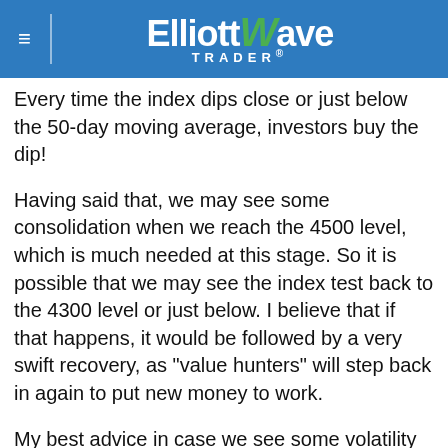Elliott Wave Trader
Every time the index dips close or just below the 50-day moving average, investors buy the dip!
Having said that, we may see some consolidation when we reach the 4500 level, which is much needed at this stage. So it is possible that we may see the index test back to the 4300 level or just below. I believe that if that happens, it would be followed by a very swift recovery, as "value hunters" will step back in again to put new money to work.
My best advice in case we see some volatility is to keep a long-term view and not to time this market. This is a market that is ultimately going to find reasons to go much higher regardless of any transitory factors or "market scars" such as COVID or fluctuations in Treasury rates. This is the beauty of a "liquidity-driven" bull market that is financed by government